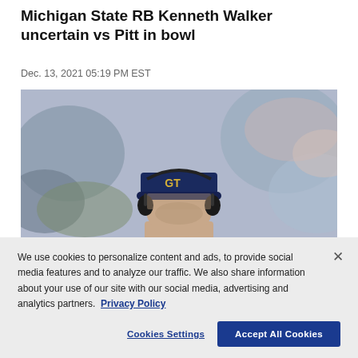Michigan State RB Kenneth Walker uncertain vs Pitt in bowl
Dec. 13, 2021 05:19 PM EST
[Figure (photo): Man wearing a navy blue GT (Georgia Tech) cap and headset, photographed from the chin up, with a blurred crowd in background.]
We use cookies to personalize content and ads, to provide social media features and to analyze our traffic. We also share information about your use of our site with our social media, advertising and analytics partners.  Privacy Policy
Cookies Settings
Accept All Cookies